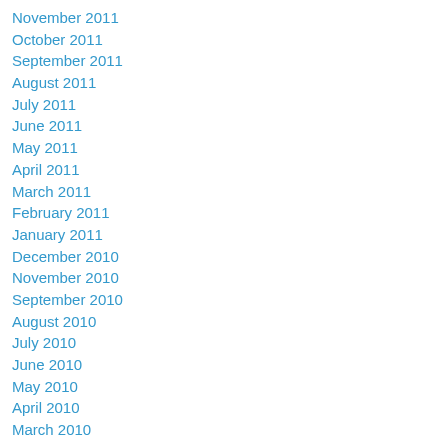November 2011
October 2011
September 2011
August 2011
July 2011
June 2011
May 2011
April 2011
March 2011
February 2011
January 2011
December 2010
November 2010
September 2010
August 2010
July 2010
June 2010
May 2010
April 2010
March 2010